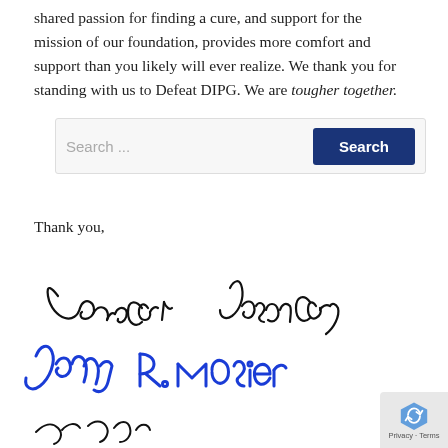shared passion for finding a cure, and support for the mission of our foundation, provides more comfort and support than you likely will ever realize. We thank you for standing with us to Defeat DIPG. We are tougher together.
[Figure (screenshot): Search bar UI element with placeholder text 'Search ...' and a dark blue 'Search' button]
Thank you,
[Figure (photo): Three handwritten signatures: two in black ink in the upper row (appears to read 'Janie Carr' and 'Jason Carr') and one large blue ink signature below reading 'Jenny R. Mosier', with a partial fourth signature at very bottom]
[Figure (logo): reCAPTCHA badge in bottom-right corner showing the reCAPTCHA icon with 'Privacy - Terms' text]